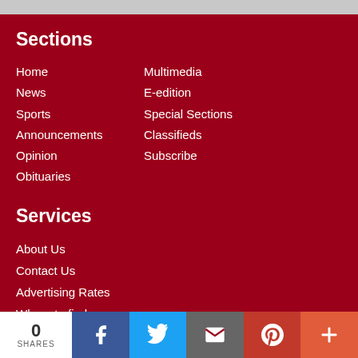Sections
Home
Multimedia
News
E-edition
Sports
Special Sections
Announcements
Classifieds
Opinion
Subscribe
Obituaries
Services
About Us
Contact Us
Advertising Rates
Where to find us
The Gonzales Inquirer
622 St. Paul
0 SHARES | Facebook | Twitter | Email | Pinterest | More